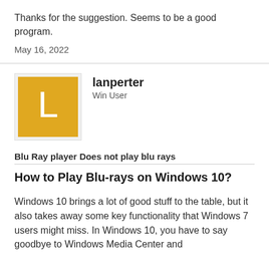Thanks for the suggestion. Seems to be a good program.
May 16, 2022
lanperter
Win User
Blu Ray player Does not play blu rays
How to Play Blu-rays on Windows 10?
Windows 10 brings a lot of good stuff to the table, but it also takes away some key functionality that Windows 7 users might miss. In Windows 10, you have to say goodbye to Windows Media Center and